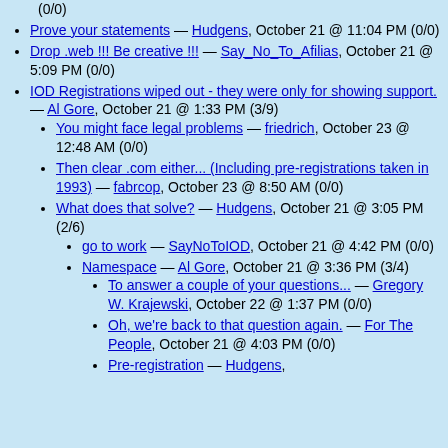(0/0)
Prove your statements — Hudgens, October 21 @ 11:04 PM (0/0)
Drop .web !!! Be creative !!! — Say_No_To_Afilias, October 21 @ 5:09 PM (0/0)
IOD Registrations wiped out - they were only for showing support. — Al Gore, October 21 @ 1:33 PM (3/9)
You might face legal problems — friedrich, October 23 @ 12:48 AM (0/0)
Then clear .com either... (Including pre-registrations taken in 1993) — fabrcop, October 23 @ 8:50 AM (0/0)
What does that solve? — Hudgens, October 21 @ 3:05 PM (2/6)
go to work — SayNoToIOD, October 21 @ 4:42 PM (0/0)
Namespace — Al Gore, October 21 @ 3:36 PM (3/4)
To answer a couple of your questions... — Gregory W. Krajewski, October 22 @ 1:37 PM (0/0)
Oh, we're back to that question again. — For The People, October 21 @ 4:03 PM (0/0)
Pre-registration — Hudgens, October 21 @ 3:47 PM (1/1)